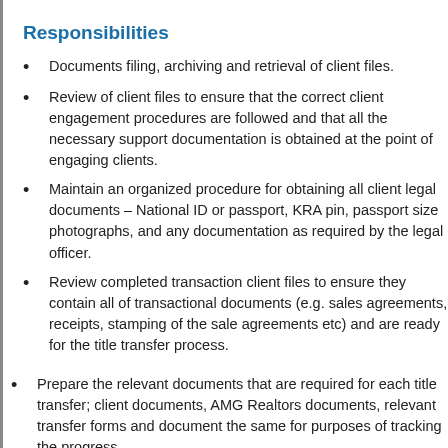Responsibilities
Documents filing, archiving and retrieval of client files.
Review of client files to ensure that the correct client engagement procedures are followed and that all the necessary support documentation is obtained at the point of engaging clients.
Maintain an organized procedure for obtaining all client legal documents – National ID or passport, KRA pin, passport size photographs, and any documentation as required by the legal officer.
Review completed transaction client files to ensure they contain all of transactional documents (e.g. sales agreements, receipts, stamping of the sale agreements etc) and are ready for the title transfer process.
Prepare the relevant documents that are required for each title transfer; client documents, AMG Realtors documents, relevant transfer forms and document the same for purposes of tracking the progress.
Support in the title dispatch and delivery processes.
Qualifications